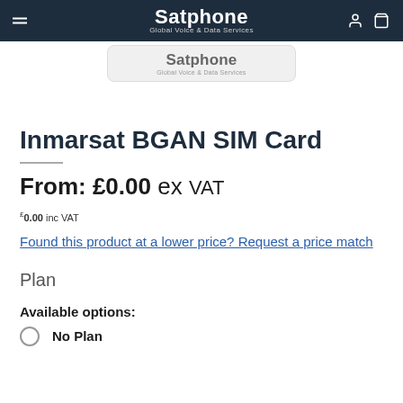Satphone — Global Voice & Data Services
[Figure (logo): Satphone logo with tagline 'Global Voice & Data Services' inside a rounded rectangle on light background]
Inmarsat BGAN SIM Card
From: £0.00 ex VAT
£0.00 inc VAT
Found this product at a lower price? Request a price match
Plan
Available options:
No Plan